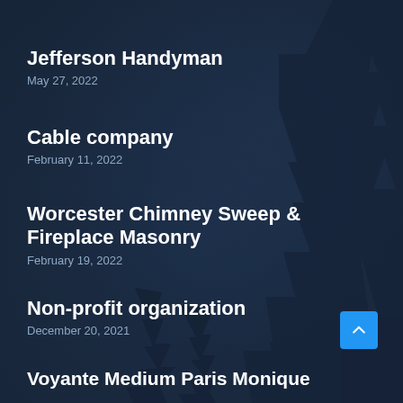Jefferson Handyman
May 27, 2022
Cable company
February 11, 2022
Worcester Chimney Sweep & Fireplace Masonry
February 19, 2022
Non-profit organization
December 20, 2021
Voyante Medium Paris Monique
May 11, 2022